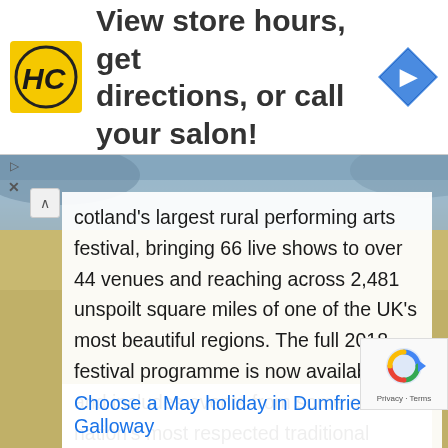[Figure (logo): HC (Hair Club) logo in yellow square with black border lettering, adjacent to blue navigation diamond icon and ad headline text]
View store hours, get directions, or call your salon!
cotland's largest rural performing arts festival, bringing 66 live shows to over 44 venues and reaching across 2,481 unspoilt square miles of one of the UK's most beautiful regions. The full 2018 festival programme is now available and includes events from some of the nation's most respected traditional musicians, five-star cutting-edge theatre, a host of hilarious comedians, engaging children's shows, literary events, and more performances by Dumfries and Galloway artists than ever before. It's sure to be a fantastic week of wit and wonder.
Choose a May holiday in Dumfries and Galloway